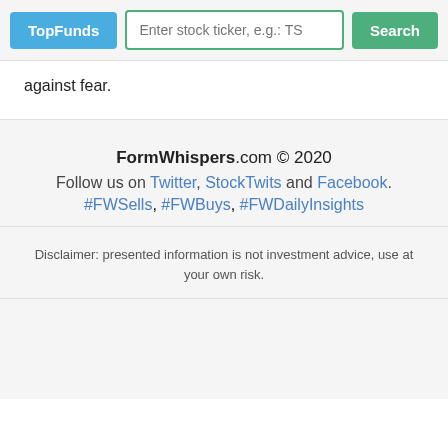TopFunds | Enter stock ticker, e.g.: TS | Search
against fear.
FormWhispers.com © 2020
Follow us on Twitter, StockTwits and Facebook.
#FWSells, #FWBuys, #FWDailyInsights
Disclaimer: presented information is not investment advice, use at your own risk.